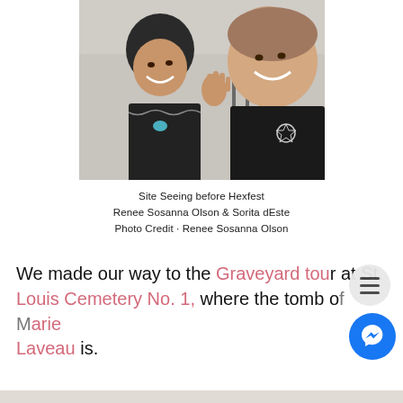[Figure (photo): Two women smiling in a selfie photo, both wearing dark clothing. The woman on the left has dark curly hair and is wearing a blue necklace with a lace-trimmed top, and the woman on the right has lighter hair and is wearing a pentagram necklace. They appear to be outdoors.]
Site Seeing before Hexfest
Renee Sosanna Olson & Sorita dEste
Photo Credit · Renee Sosanna Olson
We made our way to the Graveyard tour at St. Louis Cemetery No. 1, where the tomb of Marie Laveau is.